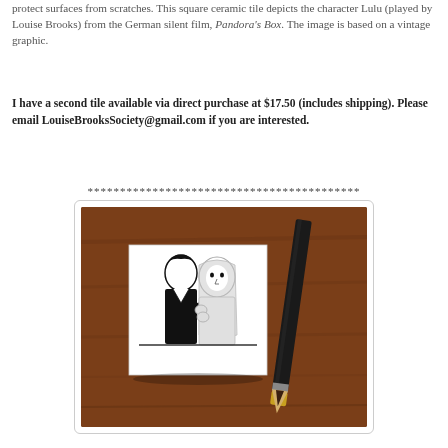protect surfaces from scratches. This square ceramic tile depicts the character Lulu (played by Louise Brooks) from the German silent film, Pandora's Box. The image is based on a vintage graphic.
I have a second tile available via direct purchase at $17.50 (includes shipping). Please email LouiseBrooksSociety@gmail.com if you are interested.
******************************************
[Figure (photo): A photo of a square white ceramic tile with a black and white graphic of two characters (Lulu from Pandora's Box) resting on a wooden table next to a dark pencil with a gold tip.]